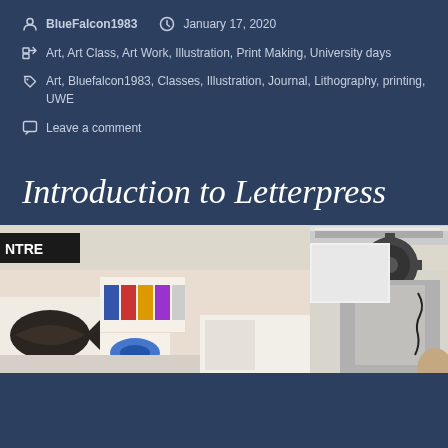BlueFalcon1983  January 17, 2020
Art, Art Class, Art Work, Illustration, Print Making, University days
Art, Bluefalcon1983, Classes, Illustration, Journal, Lithography, printing, UWE
Leave a comment
Introduction to Letterpress
[Figure (photo): Interior of an art/print studio with artworks pinned on walls, colorful prints, and letterpress machinery visible from below]